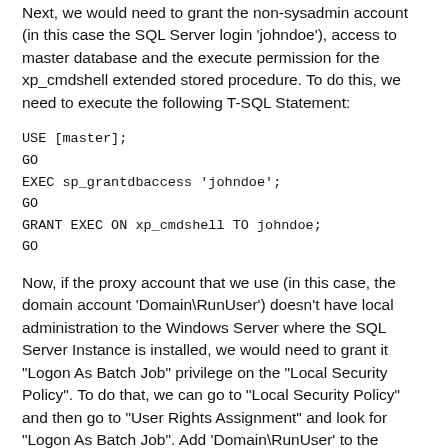Next, we would need to grant the non-sysadmin account (in this case the SQL Server login 'johndoe'), access to master database and the execute permission for the xp_cmdshell extended stored procedure. To do this, we need to execute the following T-SQL Statement:
USE [master];
GO
EXEC sp_grantdbaccess 'johndoe';
GO
GRANT EXEC ON xp_cmdshell TO johndoe;
GO
Now, if the proxy account that we use (in this case, the domain account 'Domain\RunUser') doesn't have local administration to the Windows Server where the SQL Server Instance is installed, we would need to grant it "Logon As Batch Job" privilege on the "Local Security Policy". To do that, we can go to "Local Security Policy" and then go to "User Rights Assignment" and look for "Logon As Batch Job". Add 'Domain\RunUser' to the "Logon As Batch Job" policy. If we don't do this, we would most likely get the following error when 'johndoe' SQL Server login account tries to execute xp_cmdshell: